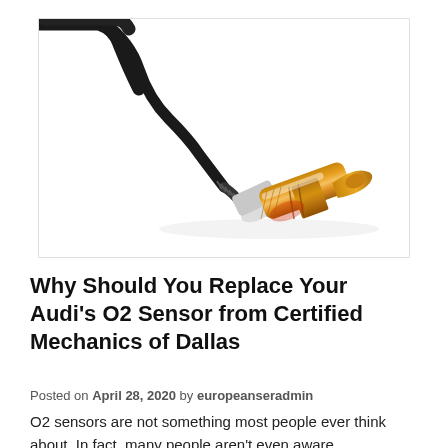[Figure (photo): Photo of an automotive O2 oxygen sensor with copper/gold metallic body and black cable/wire attached, shown on white background]
Why Should You Replace Your Audi's O2 Sensor from Certified Mechanics of Dallas
Posted on April 28, 2020 by europeanseradmin
O2 sensors are not something most people ever think about. In fact, many people aren't even aware